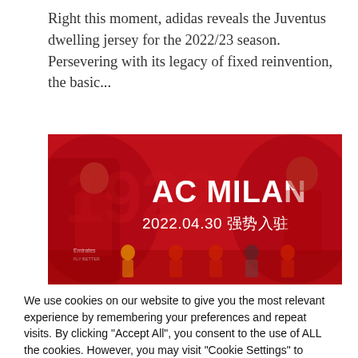Right this moment, adidas reveals the Juventus dwelling jersey for the 2022/23 season. Persevering with its legacy of fixed reinvention, the basic...
[Figure (photo): AC Milan promotional banner in red showing text 'AC MILAN 2022.04.30 强势入驻' with football players including one wearing an Emirates shirt]
We use cookies on our website to give you the most relevant experience by remembering your preferences and repeat visits. By clicking "Accept All", you consent to the use of ALL the cookies. However, you may visit "Cookie Settings" to provide a controlled consent.
Cookie Settings | Accept All